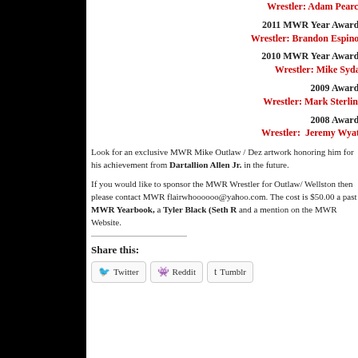Wrestler: Adam Pearce
2011 MWR Year Awards
Wrestler: Brandon Espinos
2010 MWR Year Awards
Wrestler: Mike Sydal
2009 Awards
Wrestler: Mark Sterling
2008 Awards
Wrestler: Jeremy Wyatt
Look for an exclusive MWR Mike Outlaw / Dez artwork honoring him for his achievement from Dartallion Allen Jr. in the future.
If you would like to sponsor the MWR Wrestler for Outlaw/ Wellston then please contact MWR flairwhoooooo@yahoo.com. The cost is $50.00 a past MWR Yearbook, a Tyler Black (Seth R and a mention on the MWR Website.
Share this:
Twitter
Reddit
Tumblr